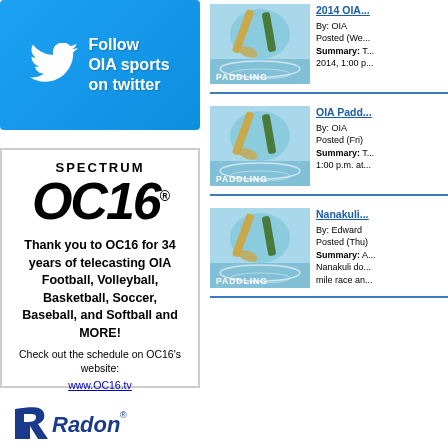[Figure (infographic): Twitter follow banner: sky blue background with Twitter bird icon and text 'Follow OIA sports on twitter']
[Figure (infographic): Spectrum OC16 advertisement box with logo and text about 34 years of telecasting. Includes link to www.OC16.tv]
2014 OIA ... By: OIA Posted (Wed) Summary: ... 2014, 1:00 p...
[Figure (photo): Paddling sports thumbnail image with 'PADDLING' label]
OIA Padd... By: OIA Posted (Fri) Summary: T... 1:00 p.m. at...
[Figure (photo): Paddling sports thumbnail image with 'PADDLING' label]
Nanakuli... By: Edward Posted (Thu) Summary: A... Nanakuli do... mile race an...
[Figure (photo): Paddling sports thumbnail image with 'PADDLING' label]
[Figure (logo): Radon logo at bottom left]